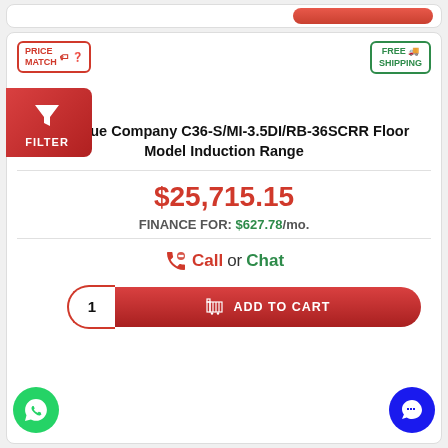[Figure (screenshot): Partial top bar with red button]
[Figure (infographic): Price Match badge in red and Free Shipping badge in green]
[Figure (infographic): Red filter button with funnel icon]
Montague Company C36-S/MI-3.5DI/RB-36SCRR Floor Model Induction Range
$25,715.15
FINANCE FOR: $627.78/mo.
Call or Chat
1  ADD TO CART